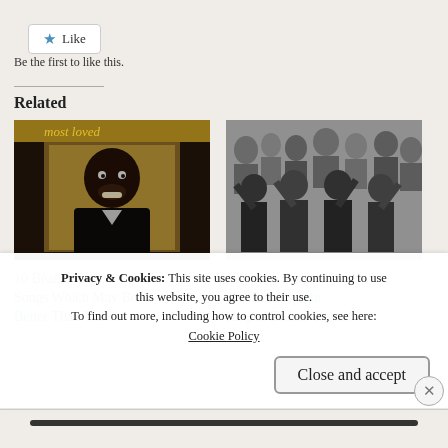Like
Be the first to like this.
Related
[Figure (photo): Album cover showing a smiling Black man in dark clothing against a golden/yellow background with text above]
10 Beatles Cover Songs Which May Be Better Than The…
[Figure (photo): Black and white photo of The Beatles waving to a crowd]
10 Cover Songs By The Beatles That Helped Define Them…
Privacy & Cookies: This site uses cookies. By continuing to use this website, you agree to their use. To find out more, including how to control cookies, see here: Cookie Policy
Close and accept